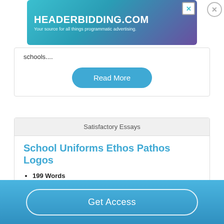[Figure (screenshot): HEADERBIDDING.COM advertisement banner with text 'Your source for all things programmatic advertising.' on a teal/purple gradient background]
schools....
Read More
Satisfactory Essays
School Uniforms Ethos Pathos Logos
199 Words
1 Pages
This is one of those debates that happens over and over
Get Access